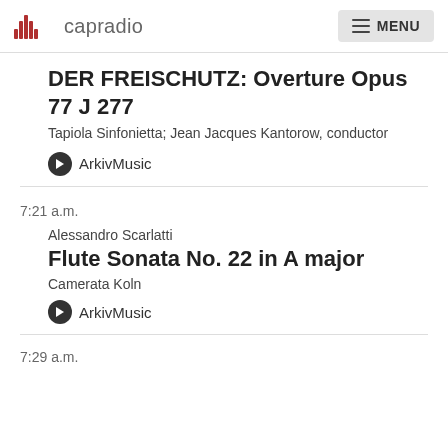capradio | MENU
DER FREISCHUTZ: Overture Opus 77 J 277
Tapiola Sinfonietta; Jean Jacques Kantorow, conductor
ArkivMusic
7:21 a.m.
Alessandro Scarlatti
Flute Sonata No. 22 in A major
Camerata Koln
ArkivMusic
7:29 a.m.